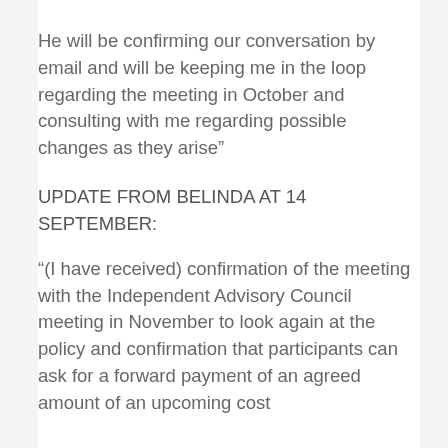He will be confirming our conversation by email and will be keeping me in the loop regarding the meeting in October and consulting with me regarding possible changes as they arise”
UPDATE FROM BELINDA AT 14 SEPTEMBER:
“(I have received) confirmation of the meeting with the Independent Advisory Council meeting in November to look again at the policy and confirmation that participants can ask for a forward payment of an agreed amount of an upcoming cost